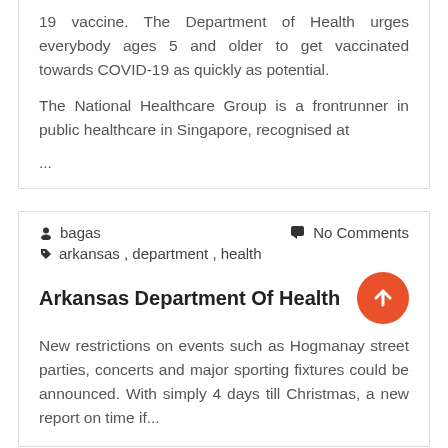19 vaccine. The Department of Health urges everybody ages 5 and older to get vaccinated towards COVID-19 as quickly as potential.
The National Healthcare Group is a frontrunner in public healthcare in Singapore, recognised at ...
bagas  No Comments  arkansas , department , health
Arkansas Department Of Health
New restrictions on events such as Hogmanay street parties, concerts and major sporting fixtures could be announced. With simply 4 days till Christmas, a new report on time if...